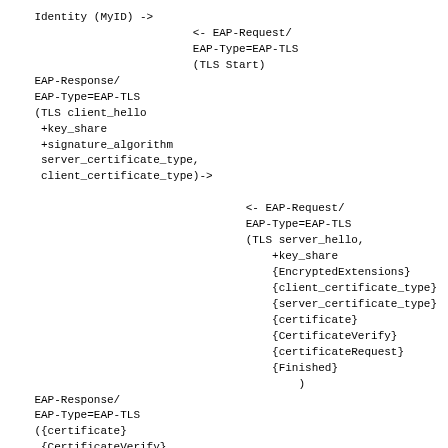Identity (MyID) ->
                        <- EAP-Request/
                        EAP-Type=EAP-TLS
                        (TLS Start)
EAP-Response/
EAP-Type=EAP-TLS
(TLS client_hello
 +key_share
 +signature_algorithm
 server_certificate_type,
 client_certificate_type)->

                                <- EAP-Request/
                                EAP-Type=EAP-TLS
                                (TLS server_hello,
                                    +key_share
                                    {EncryptedExtensions}
                                    {client_certificate_type}
                                    {server_certificate_type}
                                    {certificate}
                                    {CertificateVerify}
                                    {certificateRequest}
                                    {Finished}
                                        )
EAP-Response/
EAP-Type=EAP-TLS
({certificate}
 {CertificateVerify}
 {Finished}
 ) ->